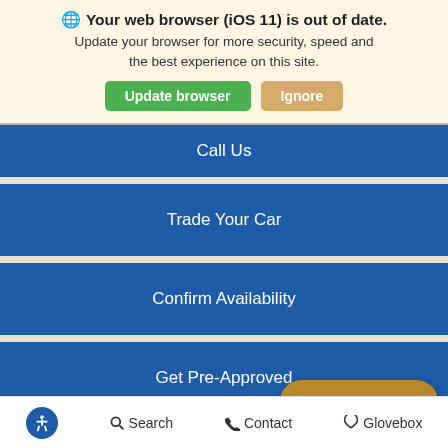🌐 Your web browser (iOS 11) is out of date. Update your browser for more security, speed and the best experience on this site. [Update browser] [Ignore]
Call Us
Trade Your Car
Confirm Availability
Get Pre-Approved
[Figure (screenshot): Floating gold pill button labeled 'Value Your Trade']
Accessibility icon  Search  Contact  Glovebox